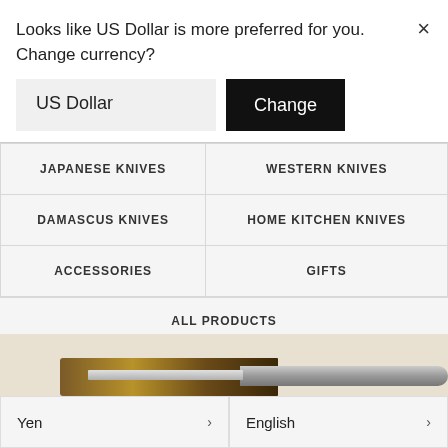Looks like US Dollar is more preferred for you. Change currency?
US Dollar
Change
| JAPANESE KNIVES | WESTERN KNIVES |
| DAMASCUS KNIVES | HOME KITCHEN KNIVES |
| ACCESSORIES | GIFTS |
| ALL PRODUCTS |  |
Home › Kirameki Blue Steel #1 Damascus Wa-Gyuto Chef Knife
Yen
English